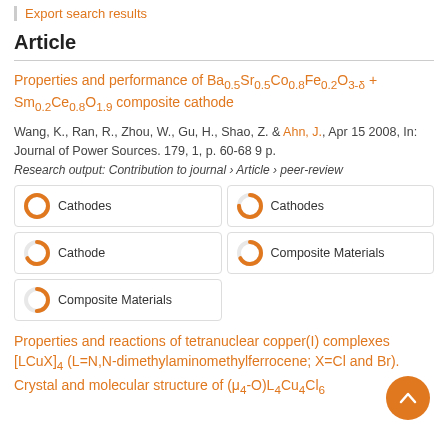Export search results
Article
Properties and performance of Ba0.5Sr0.5Co0.8Fe0.2O3-δ + Sm0.2Ce0.8O1.9 composite cathode
Wang, K., Ran, R., Zhou, W., Gu, H., Shao, Z. & Ahn, J., Apr 15 2008, In: Journal of Power Sources. 179, 1, p. 60-68 9 p.
Research output: Contribution to journal › Article › peer-review
Cathodes
Cathodes
Cathode
Composite Materials
Composite Materials
Properties and reactions of tetranuclear copper(I) complexes [LCuX]4 (L=N,N-dimethylaminomethylferrocene; X=Cl and Br). Crystal and molecular structure of (μ4-O)L4Cu4Cl6